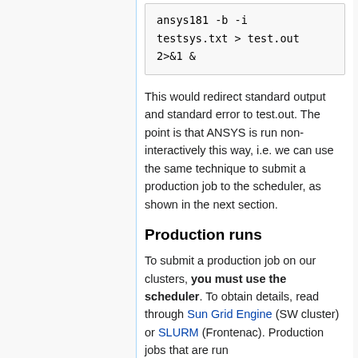[Figure (screenshot): Code block showing: ansys181 -b -i testsys.txt > test.out 2>&1 &]
This would redirect standard output and standard error to test.out. The point is that ANSYS is run non-interactively this way, i.e. we can use the same technique to submit a production job to the scheduler, as shown in the next section.
Production runs
To submit a production job on our clusters, you must use the scheduler. To obtain details, read through Sun Grid Engine (SW cluster) or SLURM (Frontenac). Production jobs that are run...